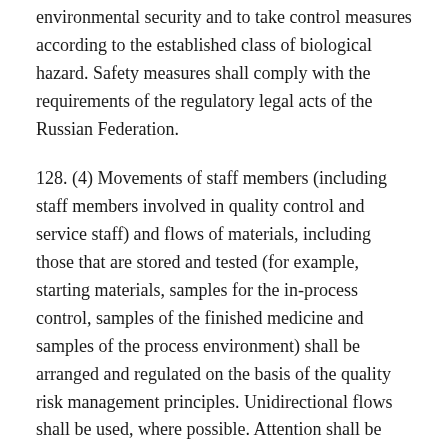environmental security and to take control measures according to the established class of biological hazard. Safety measures shall comply with the requirements of the regulatory legal acts of the Russian Federation.
128. (4) Movements of staff members (including staff members involved in quality control and service staff) and flows of materials, including those that are stored and tested (for example, starting materials, samples for the in-process control, samples of the finished medicine and samples of the process environment) shall be arranged and regulated on the basis of the quality risk management principles. Unidirectional flows shall be used, where possible. Attention shall be paid to movements between areas containing various genetically modified organisms and areas containing non-genetically modified organisms.